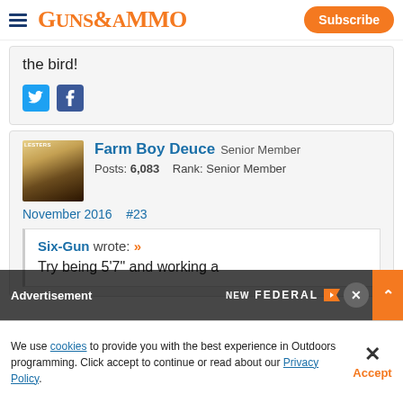GUNS&AMMO | Subscribe
the bird!
[Figure (screenshot): Twitter and Facebook social share icons]
[Figure (photo): User avatar for Farm Boy Deuce - book cover style image]
Farm Boy Deuce Senior Member
Posts: 6,083    Rank: Senior Member
November 2016  #23
Six-Gun wrote: »
Try being 5'7" and working a
[Figure (screenshot): Advertisement overlay: NEW FEDERAL with close and expand buttons]
We use cookies to provide you with the best experience in Outdoors programming. Click accept to continue or read about our Privacy Policy.